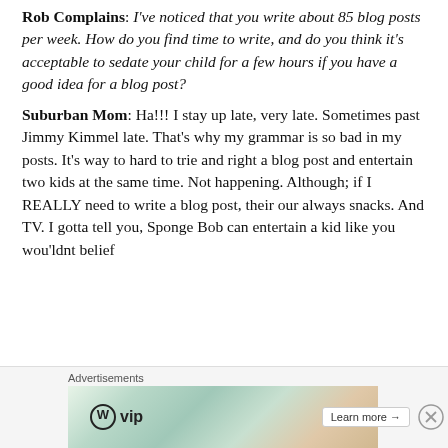Rob Complains:  I've noticed that you write about 85 blog posts per week.  How do you find time to write, and do you think it's acceptable to sedate your child for a few hours if you have a good idea for a blog post?
Suburban Mom:  Ha!!!  I stay up late, very late.  Sometimes past Jimmy Kimmel late.  That's why my grammar is so bad in my posts.  It's way to hard to trie and right a blog post and entertain two kids at the same time.  Not happening.  Although; if I REALLY need to write a blog post, their our always snacks.  And TV.  I gotta tell you, Sponge Bob can entertain a kid like you wou'ldnt belief
Advertisements
[Figure (other): WordPress VIP advertisement banner with social media cards background and Learn more button]